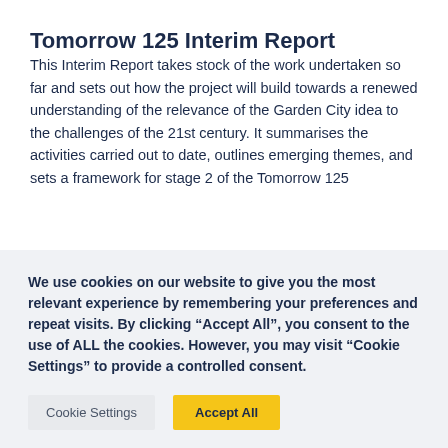Tomorrow 125 Interim Report
This Interim Report takes stock of the work undertaken so far and sets out how the project will build towards a renewed understanding of the relevance of the Garden City idea to the challenges of the 21st century. It summarises the activities carried out to date, outlines emerging themes, and sets a framework for stage 2 of the Tomorrow 125
We use cookies on our website to give you the most relevant experience by remembering your preferences and repeat visits. By clicking “Accept All”, you consent to the use of ALL the cookies. However, you may visit “Cookie Settings” to provide a controlled consent.
Cookie Settings | Accept All